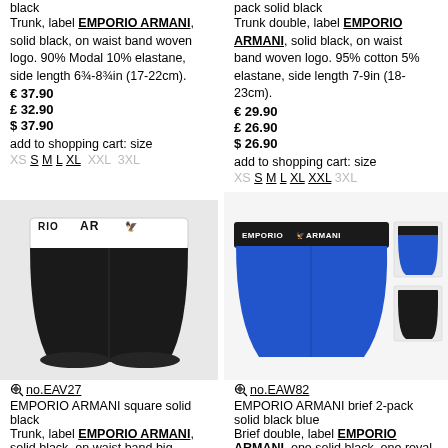black
Trunk, label EMPORIO ARMANI, solid black, on waist band woven logo. 90% Modal 10% elastane, side length 6¾-8¾in (17-22cm).
€ 37.90
£ 32.90
$ 37.90
add to shopping cart: size
XS S M L XL XXL 3XL
pack solid black
Trunk double, label EMPORIO ARMANI, solid black, on waist band woven logo. 95% cotton 5% elastane, side length 7-9in (18-23cm).
€ 29.90
£ 26.90
$ 26.90
add to shopping cart: size
XS S M L XL XXL 3XL
Show all of this series
[Figure (photo): Emporio Armani black boxer trunk with white waistband logo]
[Figure (photo): Emporio Armani brief 2-pack in royal blue and black with branded waistband]
no.EAV27
EMPORIO ARMANI square solid black
Trunk, label EMPORIO ARMANI, solid black, on waist band big woven logo. 95% cotton 5% elastane, side length 9¾-11½in (25-29cm).
no.EAW82
EMPORIO ARMANI brief 2-pack solid black blue
Brief double, label EMPORIO ARMANI, one solid black, one royal blue, waist band black, on waist band woven logo. 95% cotton 5% elastane, side seam